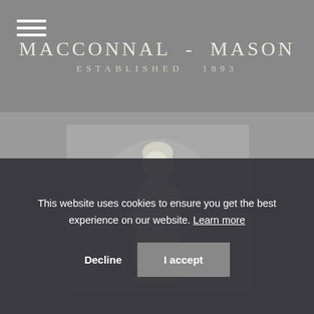MACCONNAL - MASON
ESTABLISHED 1893
[Figure (photo): White marble sculpture of a female figure with head bowed and arms crossed, photographed against a grey background]
This website uses cookies to ensure you get the best experience on our website. Learn more
Decline  I accept